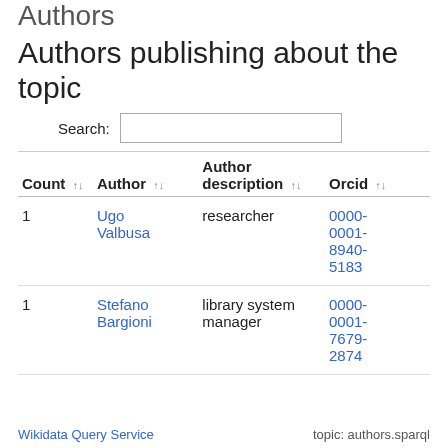Authors
Authors publishing about the topic
Search:
| Count | Author | Author description | Orcid |
| --- | --- | --- | --- |
| 1 | Ugo Valbusa | researcher | 0000-0001-8940-5183 |
| 1 | Stefano Bargioni | library system manager | 0000-0001-7679-2874 |
Wikidata Query Service   topic: authors.sparql